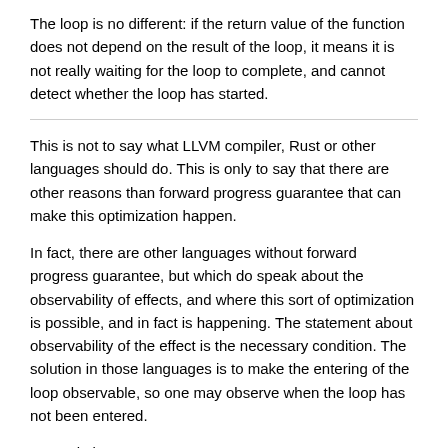The loop is no different: if the return value of the function does not depend on the result of the loop, it means it is not really waiting for the loop to complete, and cannot detect whether the loop has started.
This is not to say what LLVM compiler, Rust or other languages should do. This is only to say that there are other reasons than forward progress guarantee that can make this optimization happen.
In fact, there are other languages without forward progress guarantee, but which do speak about the observability of effects, and where this sort of optimization is possible, and in fact is happening. The statement about observability of the effect is the necessary condition. The solution in those languages is to make the entering of the loop observable, so one may observe when the loop has not been entered.
Example in Rust:
fn is_odd(x: mut u32, y: &mut u32) -> bool {
    while x != 0 {